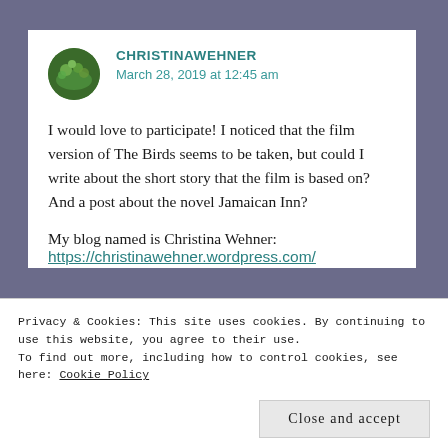CHRISTINAWEHNER
March 28, 2019 at 12:45 am
I would love to participate! I noticed that the film version of The Birds seems to be taken, but could I write about the short story that the film is based on? And a post about the novel Jamaican Inn?
My blog named is Christina Wehner: https://christinawehner.wordpress.com/
Privacy & Cookies: This site uses cookies. By continuing to use this website, you agree to their use.
To find out more, including how to control cookies, see here: Cookie Policy
Close and accept